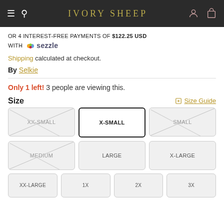IVORY SHEEP
OR 4 INTEREST-FREE PAYMENTS OF $122.25 USD WITH Sezzle
Shipping calculated at checkout.
By Selkie
Only 1 left! 3 people are viewing this.
Size  Size Guide
XX-SMALL | X-SMALL | SMALL | MEDIUM | LARGE | X-LARGE | XX-LARGE | 1X | 2X | 3X